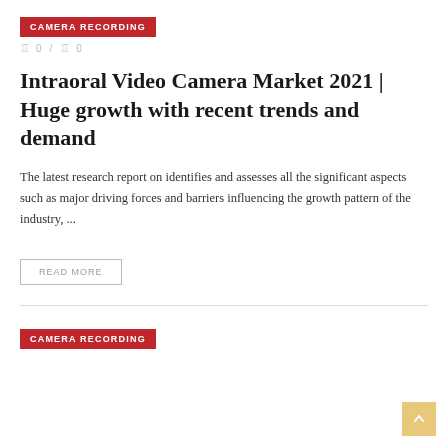CAMERA RECORDING
0 / 0
Intraoral Video Camera Market 2021 | Huge growth with recent trends and demand
The latest research report on identifies and assesses all the significant aspects such as major driving forces and barriers influencing the growth pattern of the industry, ...
READ MORE
CAMERA RECORDING